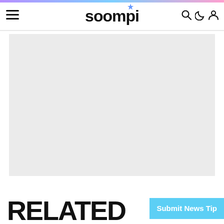soompi
[Figure (photo): Large light gray placeholder/image area below the soompi navigation header]
RELATED
Submit News Tip